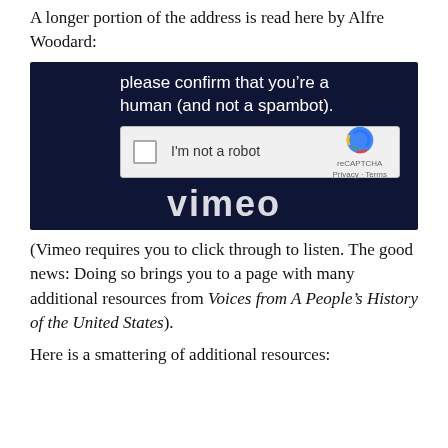A longer portion of the address is read here by Alfre Woodard:
[Figure (screenshot): Screenshot of a Vimeo video with a reCAPTCHA overlay. The overlay shows text 'please confirm that you’re a human (and not a spambot).' with a checkbox labeled 'I'm not a robot' and the reCAPTCHA logo with 'Privacy - Terms' below. The background is dark navy with the Vimeo logo partially visible.]
(Vimeo requires you to click through to listen. The good news: Doing so brings you to a page with many additional resources from Voices from A People’s History of the United States).
Here is a smattering of additional resources: